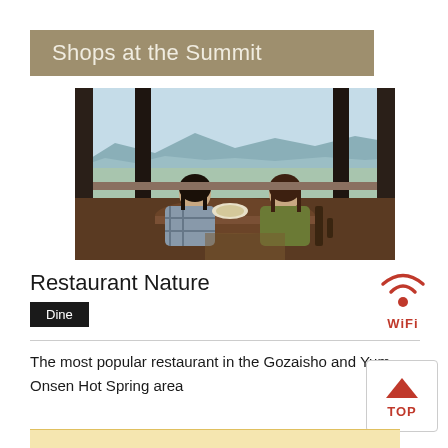Shops at the Summit
[Figure (photo): Two women dining at a restaurant table with panoramic mountain and valley views through large windows]
Restaurant Nature
Dine
The most popular restaurant in the Gozaisho and Yunoyama Onsen Hot Spring area